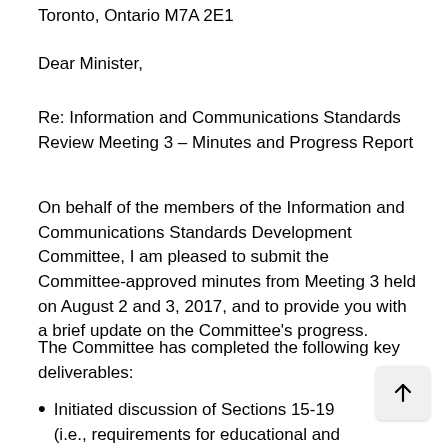Toronto, Ontario M7A 2E1
Dear Minister,
Re: Information and Communications Standards Review Meeting 3 – Minutes and Progress Report
On behalf of the members of the Information and Communications Standards Development Committee, I am pleased to submit the Committee-approved minutes from Meeting 3 held on August 2 and 3, 2017, and to provide you with a brief update on the Committee's progress.
The Committee has completed the following key deliverables:
Initiated discussion of Sections 15-19 (i.e., requirements for educational and training